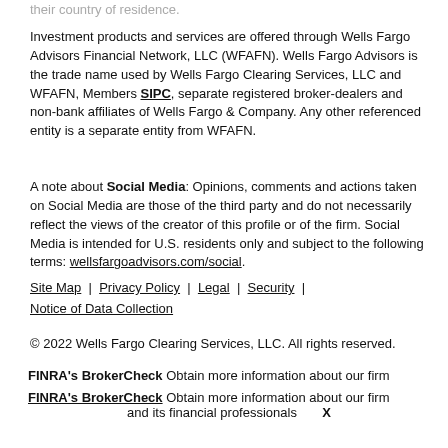Investment products and services are offered through Wells Fargo Advisors Financial Network, LLC (WFAFN). Wells Fargo Advisors is the trade name used by Wells Fargo Clearing Services, LLC and WFAFN, Members SIPC, separate registered broker-dealers and non-bank affiliates of Wells Fargo & Company. Any other referenced entity is a separate entity from WFAFN.
A note about Social Media: Opinions, comments and actions taken on Social Media are those of the third party and do not necessarily reflect the views of the creator of this profile or of the firm. Social Media is intended for U.S. residents only and subject to the following terms: wellsfargoadvisors.com/social
Site Map | Privacy Policy | Legal | Security | Notice of Data Collection
© 2022 Wells Fargo Clearing Services, LLC. All rights reserved.
FINRA's BrokerCheck Obtain more information about our firm
FINRA's BrokerCheck Obtain more information about our firm and its financial professionals X